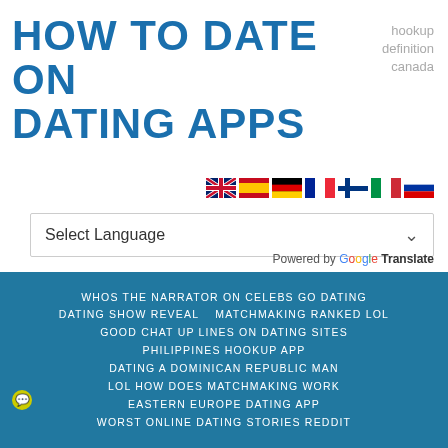HOW TO DATE ON DATING APPS
hookup definition canada
[Figure (infographic): Row of country flag icons: UK, Spain, Germany, France, Finland, Italy, Russia]
Select Language
Powered by Google Translate
WHOS THE NARRATOR ON CELEBS GO DATING
DATING SHOW REVEAL   MATCHMAKING RANKED LOL
GOOD CHAT UP LINES ON DATING SITES
PHILIPPINES HOOKUP APP
DATING A DOMINICAN REPUBLIC MAN
LOL HOW DOES MATCHMAKING WORK
EASTERN EUROPE DATING APP
WORST ONLINE DATING STORIES REDDIT